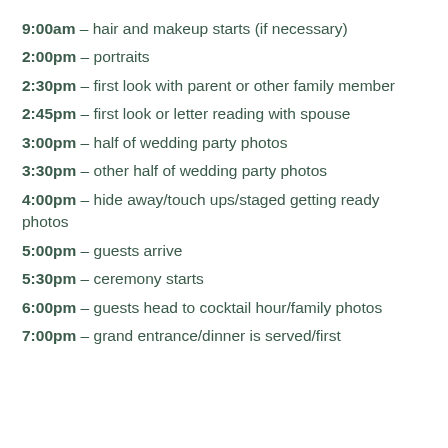9:00am – hair and makeup starts (if necessary)
2:00pm – portraits
2:30pm – first look with parent or other family member
2:45pm – first look or letter reading with spouse
3:00pm – half of wedding party photos
3:30pm – other half of wedding party photos
4:00pm – hide away/touch ups/staged getting ready photos
5:00pm – guests arrive
5:30pm – ceremony starts
6:00pm – guests head to cocktail hour/family photos
7:00pm – grand entrance/dinner is served/first